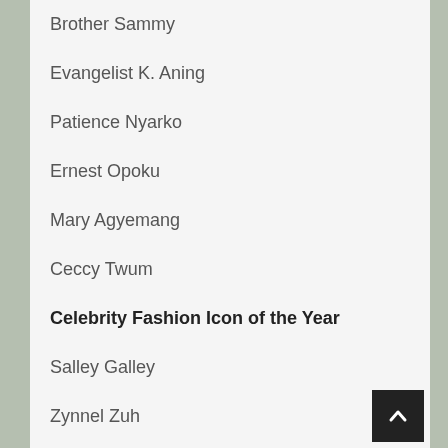Brother Sammy
Evangelist K. Aning
Patience Nyarko
Ernest Opoku
Mary Agyemang
Ceccy Twum
Celebrity Fashion Icon of the Year
Salley Galley
Zynnel Zuh
Moesha Boduong
Gloria Sarfo